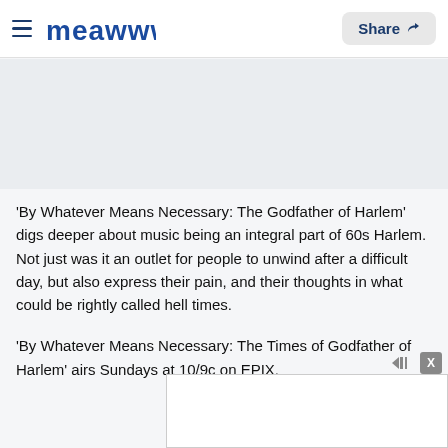Meaww | Share
'By Whatever Means Necessary: The Godfather of Harlem' digs deeper about music being an integral part of 60s Harlem. Not just was it an outlet for people to unwind after a difficult day, but also express their pain, and their thoughts in what could be rightly called hell times.
'By Whatever Means Necessary: The Times of Godfather of Harlem' airs Sundays at 10/9c on EPIX.
[Figure (other): Advertisement placeholder box at bottom right with close X button and small ad controls]